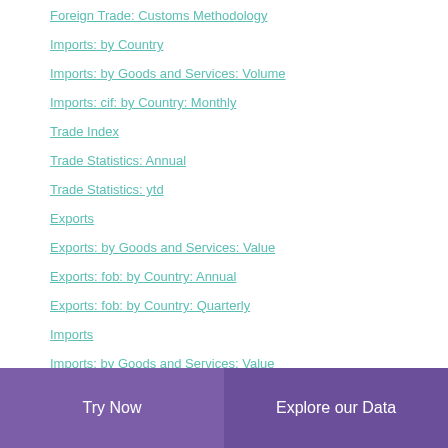Foreign Trade: Customs Methodology
Imports: by Country
Imports: by Goods and Services: Volume
Imports: cif: by Country: Monthly
Trade Index
Trade Statistics: Annual
Trade Statistics: ytd
Exports
Exports: by Goods and Services: Value
Exports: fob: by Country: Annual
Exports: fob: by Country: Quarterly
Imports
Imports: by Goods and Services: Value
Try Now | Explore our Data